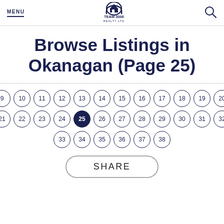MENU | TEAM 3000 REALTY LTD | [search icon]
Browse Listings in Okanagan (Page 25)
[Figure (other): Pagination circles numbered 9-38, with page 25 highlighted in dark navy blue. Rows: 9-20, 21-32, 33-38.]
SHARE